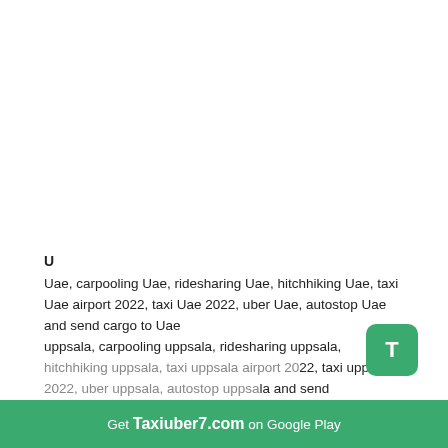U
Uae, carpooling Uae, ridesharing Uae, hitchhiking Uae, taxi Uae airport 2022, taxi Uae 2022, uber Uae, autostop Uae and send cargo to Uae
uppsala, carpooling uppsala, ridesharing uppsala, hitchhiking uppsala, taxi uppsala airport 2022, taxi uppsala 2022, uber uppsala, autostop uppsala and send
[Figure (other): Green rounded square button with white letter T]
Get Taxiuber7.com on Google Play